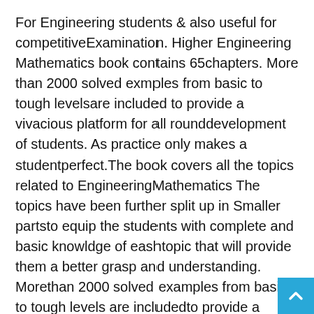For Engineering students & also useful for competitiveExamination. Higher Engineering Mathematics book contains 65chapters. More than 2000 solved exmples from basic to tough levelsare included to provide a vivacious platform for all rounddevelopment of students. As practice only makes a studentperfect.The book covers all the topics related to EngineeringMathematics The topics have been further split up in Smaller partsto equip the students with complete and basic knowldge of eashtopic that will provide them a better grasp and understanding. Morethan 2000 solved examples from basic to tough levels are includedto provide a vivacious platform for all round development ofstudents. As practice only makes a students perfect. vWhile solvingthe examples, even minor steps have not been missed, so thatstudents can follow the solution easily. Latest examination papersof different Technical Universit